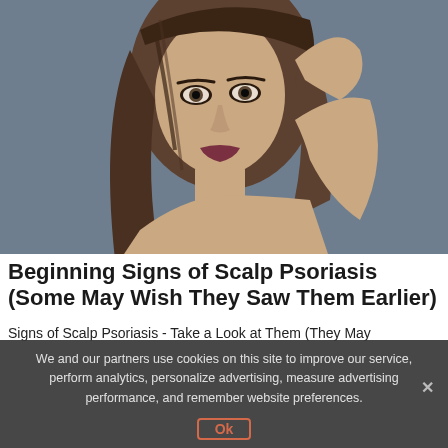[Figure (photo): A young woman with long brown hair touching the back of her head, looking at the camera with a serious expression, against a grey background]
Beginning Signs of Scalp Psoriasis (Some May Wish They Saw Them Earlier)
Signs of Scalp Psoriasis - Take a Look at Them (They May
We and our partners use cookies on this site to improve our service, perform analytics, personalize advertising, measure advertising performance, and remember website preferences.
Ok